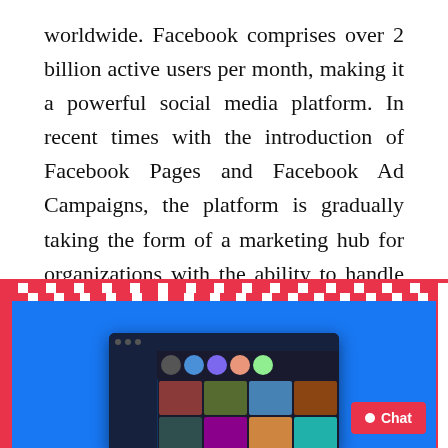worldwide. Facebook comprises over 2 billion active users per month, making it a powerful social media platform. In recent times with the introduction of Facebook Pages and Facebook Ad Campaigns, the platform is gradually taking the form of a marketing hub for organizations with the ability to handle multiple campaigns and marketing to enhance brand awareness. Facebook platform is gaining notable popularity and recognition in the world of both android and iOS app development.
[Figure (screenshot): Screenshot of a Facebook desktop interface shown on a blue background with a red polka-dot border frame. A Chat button is visible in the bottom right corner.]